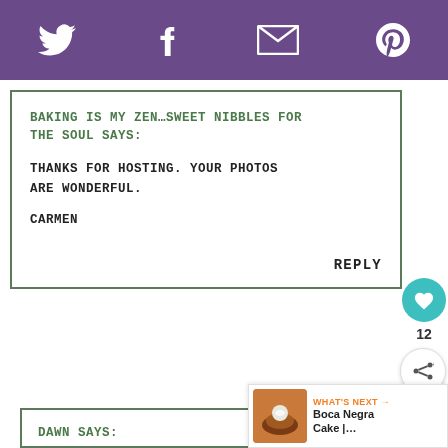Twitter | Facebook | Email | Pinterest (social sharing header bar)
BAKING IS MY ZEN...SWEET NIBBLES FOR THE SOUL SAYS:
THANKS FOR HOSTING. YOUR PHOTOS ARE WONDERFUL.
CARMEN
REPLY
DAWN SAYS:
LOVELY, KAREN! I LONGED FOR SOME SWEETENED CREAM TO GIVE THESE